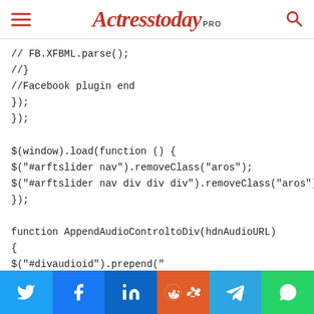Actresstoday PRO
// FB.XFBML.parse();
//}
//Facebook plugin end
});
});

$(window).load(function () {
$("#arftslider nav").removeClass("aros");
$("#arftslider nav div div div").removeClass("aros");
});

function AppendAudioControltoDiv(hdnAudioURL)
{
$("#divaudioid").prepend("
[Figure (infographic): Social share bar with Twitter, Facebook, LinkedIn, Reddit, Telegram, WhatsApp buttons]